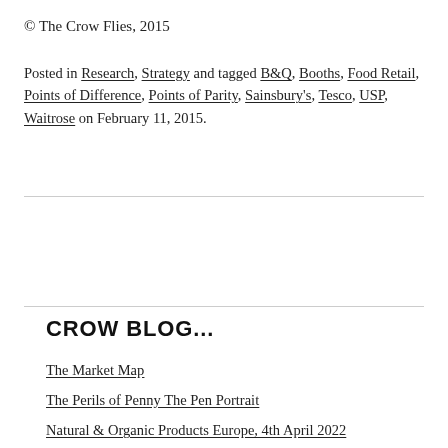© The Crow Flies, 2015
Posted in Research, Strategy and tagged B&Q, Booths, Food Retail, Points of Difference, Points of Parity, Sainsbury's, Tesco, USP, Waitrose on February 11, 2015.
CROW BLOG...
The Market Map
The Perils of Penny The Pen Portrait
Natural & Organic Products Europe, 4th April 2022